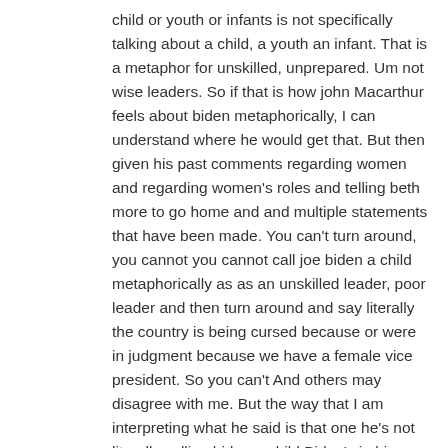child or youth or infants is not specifically talking about a child, a youth an infant. That is a metaphor for unskilled, unprepared. Um not wise leaders. So if that is how john Macarthur feels about biden metaphorically, I can understand where he would get that. But then given his past comments regarding women and regarding women's roles and telling beth more to go home and and multiple statements that have been made. You can't turn around, you cannot you cannot call joe biden a child metaphorically as as an unskilled leader, poor leader and then turn around and say literally the country is being cursed because or were in judgment because we have a female vice president. So you can't And others may disagree with me. But the way that I am interpreting what he said is that one he's not literally calling biden a child Biden's in his 70's. He's not calling him, he's in his 70s, right? I don't remember don't quote me on that. But you know, he's not